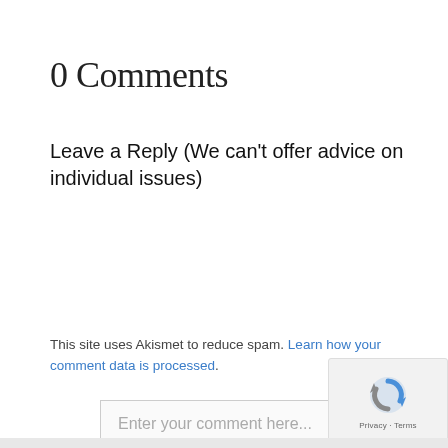0 Comments
Leave a Reply (We can't offer advice on individual issues)
Enter your comment here...
This site uses Akismet to reduce spam. Learn how your comment data is processed.
[Figure (logo): reCAPTCHA logo with Privacy and Terms links]